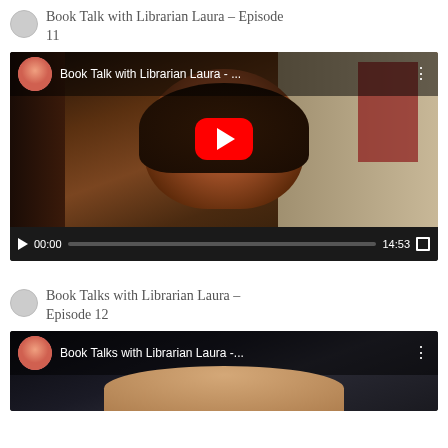Book Talk with Librarian Laura – Episode 11
[Figure (screenshot): YouTube video player showing 'Book Talk with Librarian Laura - ...' with a woman's face visible, red play button overlay, progress bar showing 00:00 and duration 14:53]
Book Talks with Librarian Laura – Episode 12
[Figure (screenshot): YouTube video player showing 'Book Talks with Librarian Laura -...' with a person's face partially visible at bottom, three-dot menu visible]